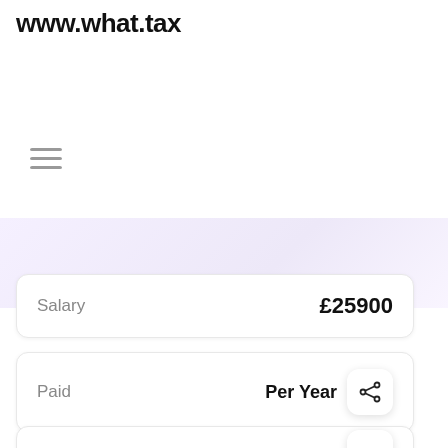www.what.tax
[Figure (other): Hamburger menu icon (three horizontal lines)]
| Label | Value |
| --- | --- |
| Salary | £25900 |
| Paid | Per Year |
| – | •••••• |